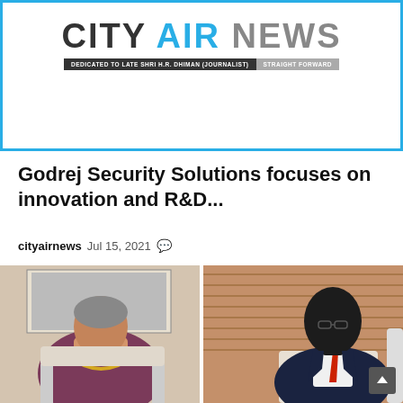[Figure (logo): City Air News logo with blue border, tagline 'DEDICATED TO LATE SHRI H.R. DHIMAN (JOURNALIST)' and 'STRAIGHT FORWARD']
Godrej Security Solutions focuses on innovation and R&D...
cityairnews   Jul 15, 2021   💬
[Figure (photo): Two people seated facing each other in an office setting. On the left, a woman in a purple/maroon saree. On the right, a man in a dark blue suit with a red tie, seated against wooden blinds background.]